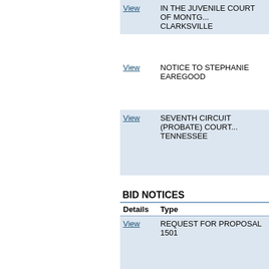| Details | Type |
| --- | --- |
| View | IN THE JUVENILE COURT OF MONTG... CLARKSVILLE |
| View | NOTICE TO STEPHANIE EAREGOOD |
| View | SEVENTH CIRCUIT (PROBATE) COURT... TENNESSEE |
BID NOTICES
| Details | Type |
| --- | --- |
| View | REQUEST FOR PROPOSAL 1501 |
MISCELLANEOUS NOTICES
| Details | Type |  |
| --- | --- | --- |
| View | 2022 - Committee/Board Meeting Notices | A... B... |
| View | Auctions | C... |